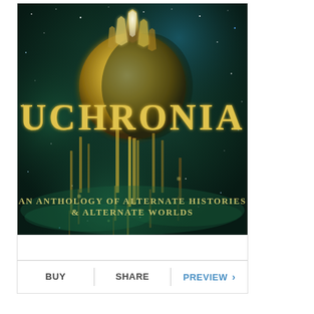[Figure (illustration): Book cover for 'Uchronia: An Anthology of Alternate Histories & Alternate Worlds'. Dark fantasy/sci-fi artwork featuring a glowing golden planet or sphere with crystalline/metallic structures hanging below it against a deep teal starry nebula background. The title 'UCHRONIA' is displayed in large gold serif letters across the middle of the cover. Below the title reads 'AN ANTHOLOGY OF ALTERNATE HISTORIES & ALTERNATE WORLDS' in smaller gold/white text.]
BUY   |   SHARE   |   PREVIEW ›